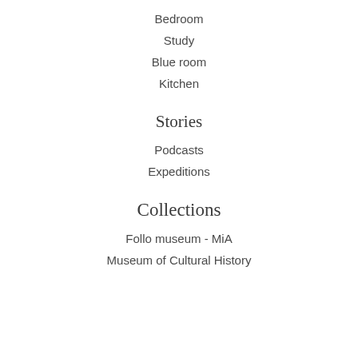Bedroom
Study
Blue room
Kitchen
Stories
Podcasts
Expeditions
Collections
Follo museum - MiA
Museum of Cultural History